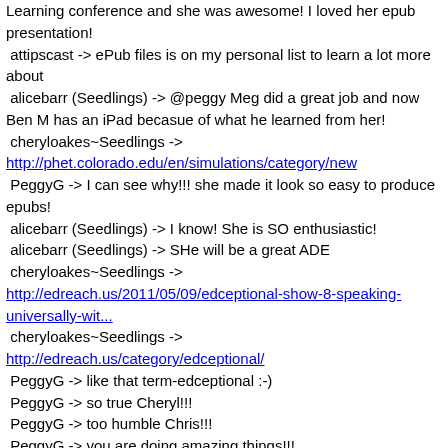Learning conference and she was awesome! I loved her epub presentation!
attipscast -> ePub files is on my personal list to learn a lot more about
alicebarr (Seedlings) -> @peggy Meg did a great job and now Ben M has an iPad becasue of what he learned from her!
cheryloakes~Seedlings -> http://phet.colorado.edu/en/simulations/category/new
PeggyG -> I can see why!!! she made it look so easy to produce epubs!
alicebarr (Seedlings) -> I know! She is SO enthusiastic!
alicebarr (Seedlings) -> SHe will be a great ADE
cheryloakes~Seedlings -> http://edreach.us/2011/05/09/edceptional-show-8-speaking-universally-wit...
cheryloakes~Seedlings -> http://edreach.us/category/edceptional/
PeggyG -> like that term-edceptional :-)
PeggyG -> so true Cheryl!!!
PeggyG -> too humble Chris!!!
PeggyG -> you are doing amazing things!!!
attipscast -> <blush>
PeggyG -> we need to have Chris come and share with Classroom 2.0 LIVE!!!!
alicebarr (Seedlings) -> YEs I think so Peggy!
cheryloakes~Seedlings -> Thanks for being a part of our show! Yeah
cheryloakes~Seedlings -> Thanks to Chris, and Edtechtalk, Worldbridges.
attipscast -> Woot!
PeggyG -> Thank you so much for sharing your insights and